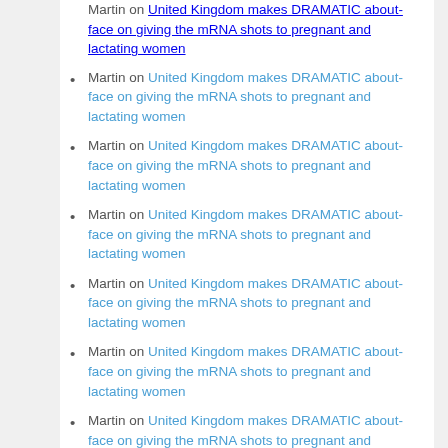Martin on United Kingdom makes DRAMATIC about-face on giving the mRNA shots to pregnant and lactating women
Martin on United Kingdom makes DRAMATIC about-face on giving the mRNA shots to pregnant and lactating women
Martin on United Kingdom makes DRAMATIC about-face on giving the mRNA shots to pregnant and lactating women
Martin on United Kingdom makes DRAMATIC about-face on giving the mRNA shots to pregnant and lactating women
Martin on United Kingdom makes DRAMATIC about-face on giving the mRNA shots to pregnant and lactating women
Martin on United Kingdom makes DRAMATIC about-face on giving the mRNA shots to pregnant and lactating women
Martin on United Kingdom makes DRAMATIC about-face on giving the mRNA shots to pregnant and lactating women
Martin on United Kingdom makes DRAMATIC about-face on giving the mRNA shots to pregnant and lactating women
Martin on United Kingdom makes DRAMATIC about-face on giving the mRNA shots to pregnant and lactating women
Martin on United Kingdom makes DRAMATIC about-face on giving the mRNA shots to pregnant and lactating women
yucki on Reader's Links for August 31st, 2022